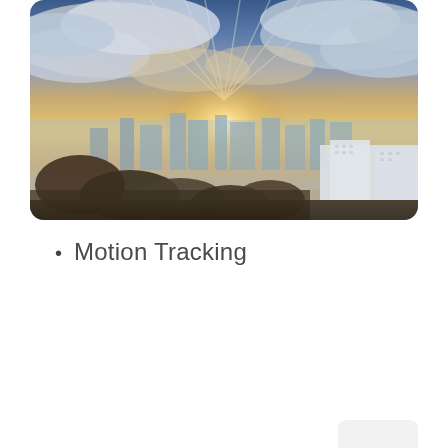[Figure (photo): Aerial cityscape photo showing a city skyline at sunset or sunrise with dramatic sun rays breaking through clouds. The sky is filled with golden and blue-tinted clouds, with sunbeams radiating downward. The cityscape below shows buildings partially obscured by haze, with trees in the foreground and white buildings visible in the background. The photo has rounded corners.]
Motion Tracking